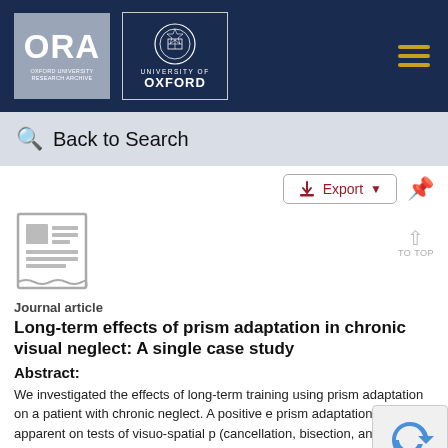[Figure (logo): ORA Oxford University Research Archive logo and University of Oxford crest logo on dark navy header bar]
Back to Search
Export
[Figure (illustration): Journal article document icon (grey)]
Journal article
Long-term effects of prism adaptation in chronic visual neglect: A single case study
Abstract:
We investigated the effects of long-term training using prism adaptation on a patient with chronic neglect. A positive e prism adaptation was apparent on tests of visuo-spatial p (cancellation, bisection, and grasping), but there was no b